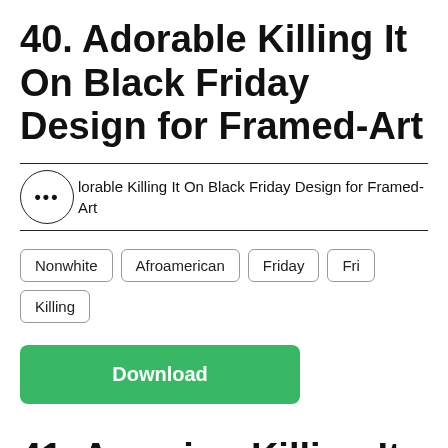40. Adorable Killing It On Black Friday Design for Framed-Art
... Adorable Killing It On Black Friday Design for Framed-Art
Nonwhite
Afroamerican
Friday
Fri
Killing
Download
41. Amazing Killing It Black Friday Design for Pouches